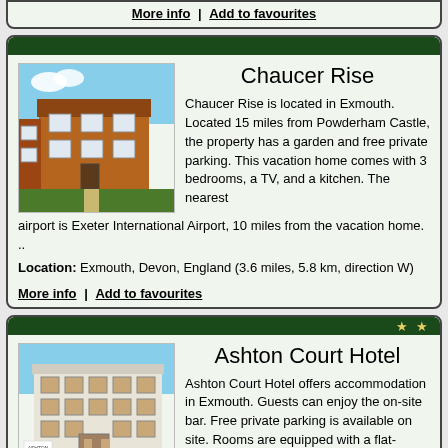More info | Add to favourites
Chaucer Rise
[Figure (photo): Exterior photo of Chaucer Rise property, a red brick building with gardens]
Chaucer Rise is located in Exmouth. Located 15 miles from Powderham Castle, the property has a garden and free private parking. This vacation home comes with 3 bedrooms, a TV, and a kitchen. The nearest airport is Exeter International Airport, 10 miles from the vacation home. ..
Location: Exmouth, Devon, England (3.6 miles, 5.8 km, direction W)
More info | Add to favourites
Ashton Court Hotel
[Figure (photo): Exterior photo of Ashton Court Hotel, a white multi-storey building]
Ashton Court Hotel offers accommodation in Exmouth. Guests can enjoy the on-site bar. Free private parking is available on site. Rooms are equipped with a flat-screen TV. Each room is fitted with a private bathroom fitted with a bath or